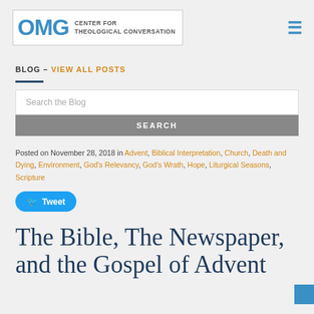OMG CENTER FOR THEOLOGICAL CONVERSATION
BLOG - VIEW ALL POSTS
Posted on November 28, 2018 in Advent, Biblical Interpretation, Church, Death and Dying, Environment, God's Relevancy, God's Wrath, Hope, Liturgical Seasons, Scripture
Tweet
The Bible, The Newspaper, and the Gospel of Advent